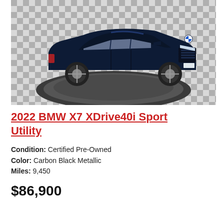[Figure (photo): A dark navy/black 2022 BMW X7 XDrive40i Sport Utility vehicle displayed on a circular turntable platform in a showroom with checkered floor tiles.]
2022 BMW X7 XDrive40i Sport Utility
Condition: Certified Pre-Owned
Color: Carbon Black Metallic
Miles: 9,450
$86,900